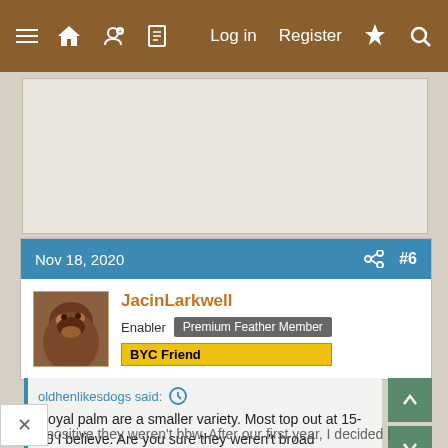Log in  Register
[Figure (screenshot): Advertisement placeholder box]
Nov 18, 2020  #6
[Figure (photo): User avatar photo of JacinLarkwell showing a bird/chicken close-up]
JacinLarkwell
Enabler  Premium Feather Member
BYC Friend
oldhenlikesdogs said:  ↑

Royal palm are a smaller variety. Most top out at 15-20 I believe. Are you sure they weren't broad breasted?
I'm positive they weren't bbw. After our first year, I decided I would never have a bb variety as a pet again, so I got the rpyals when a family friend couldn't keep them. They were